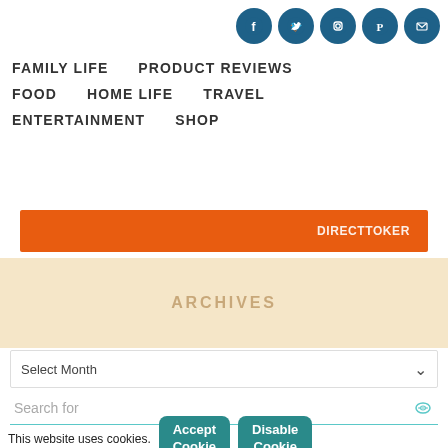[Figure (other): Social media icons row: Facebook, Twitter, Instagram, Pinterest, Email — teal/dark blue circles]
FAMILY LIFE   PRODUCT REVIEWS   FOOD   HOME LIFE   TRAVEL   ENTERTAINMENT   SHOP
[Figure (other): Orange banner with white text partially visible: DirectRocker or similar brand name]
ARCHIVES
Select Month
Search for
This website uses cookies.
Accept Cookie
Disable Cookie